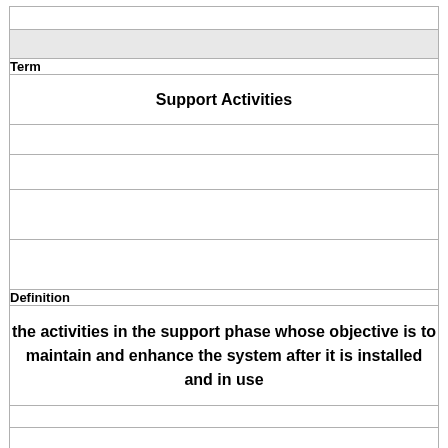|  |
|  |
| Term |
| Support Activities |
|  |
|  |
|  |
|  |
| Definition |
| the activities in the support phase whose objective is to maintain and enhance the system after it is installed and in use |
|  |
|  |
|  |